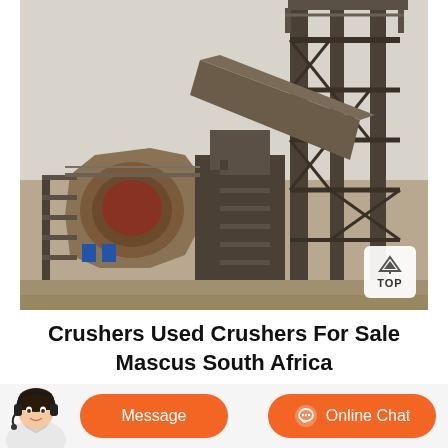[Figure (photo): Industrial cone crusher / mining equipment photo showing a large metal crusher with stairs/scaffolding structure, taken at an outdoor mining site with overcast sky]
Crushers Used Crushers For Sale Mascus South Africa
Sino Plant PYB 900 Cone Crusher Other information / specs Pyb900
[Figure (other): Customer service representative avatar with headset, and two orange buttons: 'Message' and 'Online Chat']